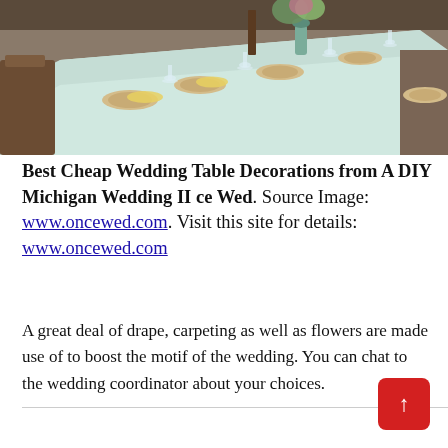[Figure (photo): A long wedding reception table set with plates, wine glasses, yellow napkins, and floral centerpieces in a rustic barn setting, viewed from one end.]
Best Cheap Wedding Table Decorations from A DIY Michigan Wedding II ce Wed. Source Image: www.oncewed.com. Visit this site for details: www.oncewed.com
A great deal of drape, carpeting as well as flowers are made use of to boost the motif of the wedding. You can chat to the wedding coordinator about your choices.